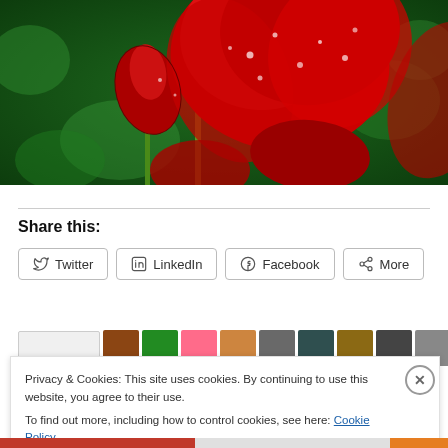[Figure (photo): Close-up photograph of red flowers with water droplets on petals against a green blurred background]
Share this:
Twitter  LinkedIn  Facebook  More
Privacy & Cookies: This site uses cookies. By continuing to use this website, you agree to their use.
To find out more, including how to control cookies, see here: Cookie Policy
Close and accept